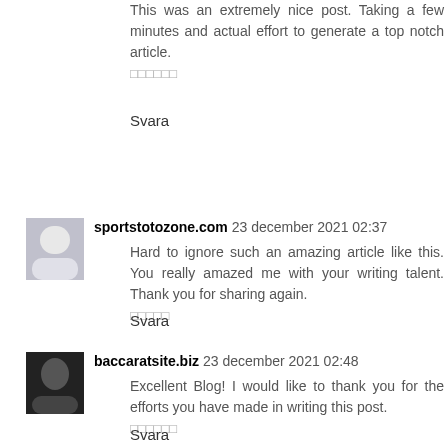This was an extremely nice post. Taking a few minutes and actual effort to generate a top notch article.
□□□□□□
Svara
sportstotozone.com 23 december 2021 02:37
Hard to ignore such an amazing article like this. You really amazed me with your writing talent. Thank you for sharing again.
□□□□□
Svara
baccaratsite.biz 23 december 2021 02:48
Excellent Blog! I would like to thank you for the efforts you have made in writing this post.
□□□□□□
Svara